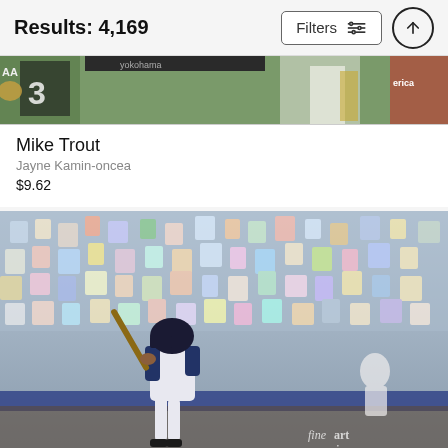Results: 4,169
Filters
[Figure (photo): Partial view of a baseball game scene, cropped at top — players in uniforms visible, green field, advertisements in background including 'america']
Mike Trout
Jayne Kamin-oncea
$9.62
[Figure (photo): Baseball batter in Seattle Mariners uniform mid-swing at stadium with crowd in background. Fine art america watermark in lower right.]